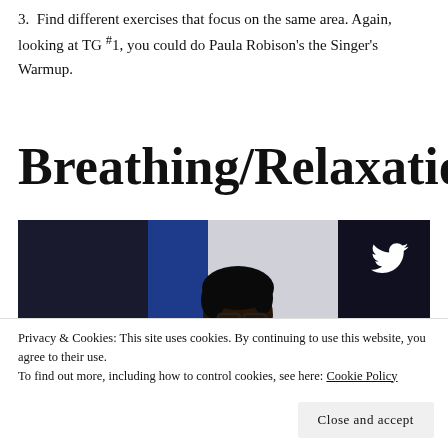3. Find different exercises that focus on the same area. Again, looking at TG #1, you could do Paula Robison’s the Singer’s Warmup.
Breathing/Relaxation
[Figure (photo): Photo of a person with glasses and curly hair against a blue and white background, with a Twitter bird logo visible in the upper right corner of the image.]
Privacy & Cookies: This site uses cookies. By continuing to use this website, you agree to their use.
To find out more, including how to control cookies, see here: Cookie Policy
Close and accept